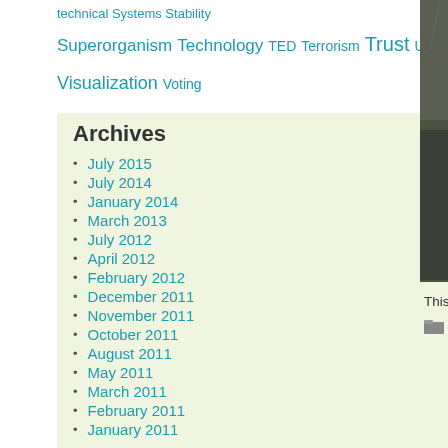technical Systems Stability
Superorganism Technology TED Terrorism Trust Uncategorized Visualization Voting
Archives
July 2015
July 2014
January 2014
March 2013
July 2012
April 2012
February 2012
December 2011
November 2011
October 2011
August 2011
May 2011
March 2011
February 2011
January 2011
[Figure (photo): People in rain ponchos standing in a wet outdoor setting, crowd visible in background]
This is a picture of what Food
Culture, Health, Homelessness, Interventions, Scarcity / Abunda...